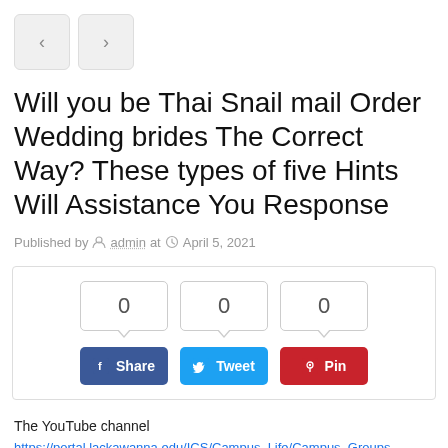[Figure (other): Navigation previous and next arrow buttons (< and >)]
Will you be Thai Snail mail Order Wedding brides The Correct Way? These types of five Hints Will Assistance You Response
Published by admin at April 5, 2021
[Figure (infographic): Social share box with counters showing 0 for Share, Tweet, and Pin buttons]
The YouTube channel
https://portal.lackawanna.edu/ICS/Campus_Life/Campus_Groups